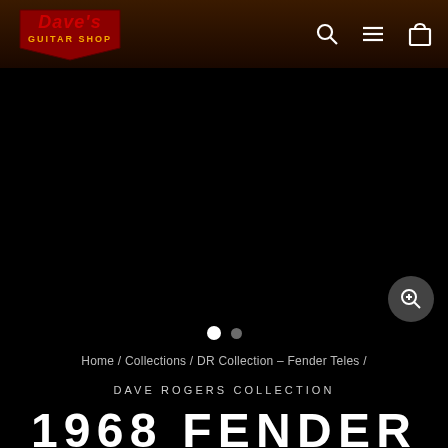Dave's Guitar Shop — navigation bar with logo, search, menu, and cart icons
[Figure (photo): Black main image area showing a guitar product photo (currently black/unloaded), with a zoom magnifier button in the lower right and two slider navigation dots below]
Home / Collections / DR Collection – Fender Teles /
DAVE ROGERS COLLECTION
1968 FENDER